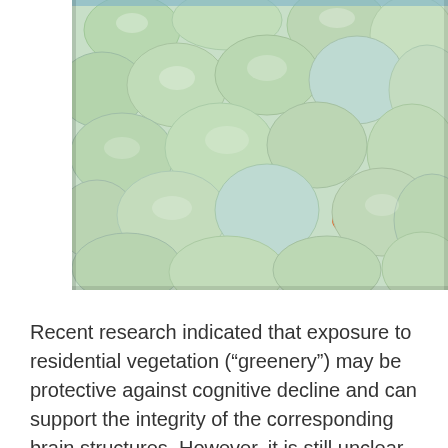[Figure (photo): Close-up photograph of green foam packing peanuts filling a box, with a small orange object visible between the peanuts near the center-right.]
Recent research indicated that exposure to residential vegetation (“greenery”) may be protective against cognitive decline and can support the integrity of the corresponding brain structures. However, it is still unclear